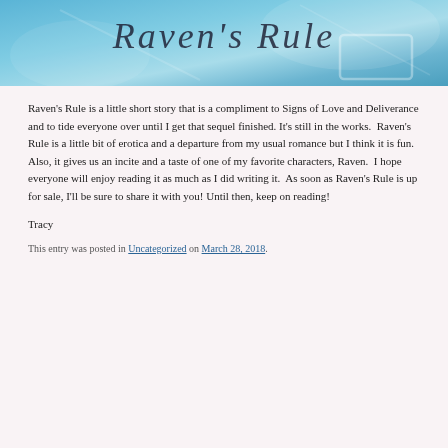[Figure (illustration): Blue-toned banner image with cursive/script text overlay, decorative book or object shape in corner, gradient blue background with light streaks]
Raven’s Rule is a little short story that is a compliment to Signs of Love and Deliverance and to tide everyone over until I get that sequel finished. It’s still in the works.  Raven’s Rule is a little bit of erotica and a departure from my usual romance but I think it is fun. Also, it gives us an incite and a taste of one of my favorite characters, Raven.  I hope everyone will enjoy reading it as much as I did writing it.  As soon as Raven’s Rule is up for sale, I’ll be sure to share it with you! Until then, keep on reading!
Tracy
This entry was posted in Uncategorized on March 28, 2018.